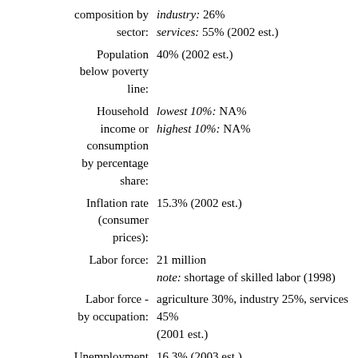composition by sector: industry: 26% services: 55% (2002 est.)
Population below poverty line: 40% (2002 est.)
Household income or consumption by percentage share: lowest 10%: NA% highest 10%: NA%
Inflation rate (consumer prices): 15.3% (2002 est.)
Labor force: 21 million note: shortage of skilled labor (1998)
Labor force - by occupation: agriculture 30%, industry 25%, services 45% (2001 est.)
Unemployment rate: 16.3% (2003 est.)
Budget: revenues: $29.5 billion